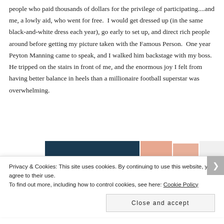people who paid thousands of dollars for the privilege of participating....and me, a lowly aid, who went for free.  I would get dressed up (in the same black-and-white dress each year), go early to set up, and direct rich people around before getting my picture taken with the Famous Person.  One year Peyton Manning came to speak, and I walked him backstage with my boss.  He tripped on the stairs in front of me, and the enormous joy I felt from having better balance in heels than a millionaire football superstar was overwhelming.
[Figure (photo): Partial image strip showing a dark navy blue panel and photos with skin tones visible, partially cropped]
Privacy & Cookies: This site uses cookies. By continuing to use this website, you agree to their use.
To find out more, including how to control cookies, see here: Cookie Policy
Close and accept